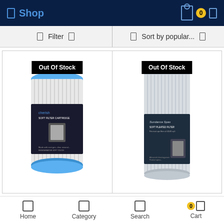Shop
Filter | Sort by popular...
[Figure (photo): Filter cartridge product with blue cap, labeled 'cherish SOFT FILTER CARTRIDGE', with 'Out Of Stock' badge overlay]
[Figure (photo): Tall cylindrical pleated filter cartridge labeled 'Sundance Spas SOFT PLEATED FILTER', with 'Out Of Stock' badge overlay]
Home    Category    Search    Cart